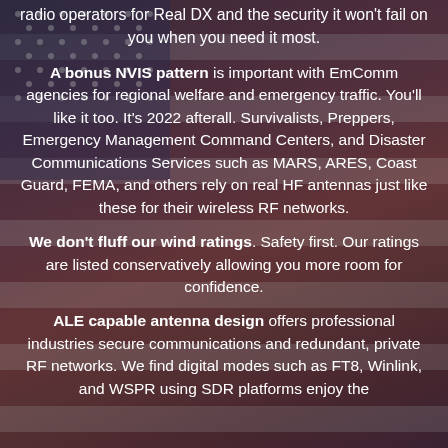radio operators for Real DX and the security it won't fail on you when you need it most.
A bonus NVIS pattern is important with EmComm agencies for regional welfare and emergency traffic. You'll like it too. It's 2022 afterall. Survivalists, Preppers, Emergency Management Command Centers, and Disaster Communications Services such as MARS, ARES, Coast Guard, FEMA, and others rely on real HF antennas just like these for their wireless RF networks.
We don't fluff our wind ratings. Safety first. Our ratings are listed conservatively allowing you more room for confidence.
ALE capable antenna design offers professional industries secure communications and redundant, private RF networks. We find digital modes such as FT8, Winlink, and WSPR using SDR platforms enjoy the